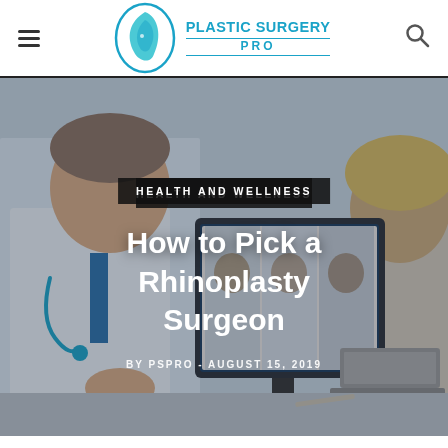[Figure (logo): Plastic Surgery Pro logo with circular face icon in teal and text 'PLASTIC SURGERY PRO']
[Figure (photo): Doctor in white coat consulting with a patient in front of a monitor showing facial profile images]
HEALTH AND WELLNESS
How to Pick a Rhinoplasty Surgeon
BY PSPRO - AUGUST 15, 2019